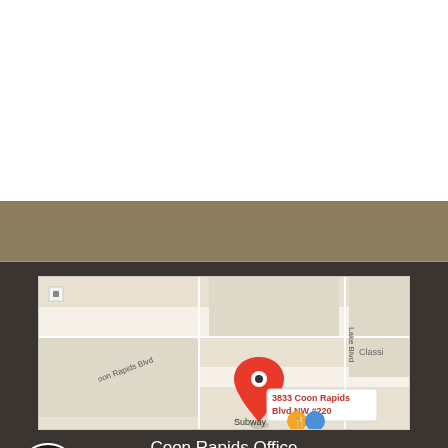SPEAR Study Club (Maple Grove)
Continuing Education Opportunities
Announcements
Links of Interest
[Figure (map): Google Maps screenshot showing location pin at 3833 Coon Rapids Blvd NW #220, with Subway and other nearby points of interest visible.]
Coon Rapids Office
3833 Coon Rapids Blvd., #220
Coon Rapids, MN 55433